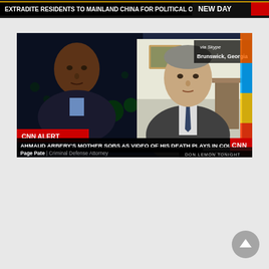[Figure (screenshot): Top portion of a CNN news broadcast showing a breaking news ticker at the bottom reading 'EXTRADITE RESIDENTS TO MAINLAND CHINA FOR POLITICAL OR INADVERTENT...' with 'NEW DAY' branding on the right side.]
[Figure (screenshot): CNN 'Don Lemon Tonight' broadcast screenshot. Left side shows news anchor Don Lemon in a dark studio. Right side shows a Skype interview with Page Pate, Criminal Defense Attorney, from Brunswick, Georgia. CNN Alert banner at bottom reads 'AHMAUD ARBERY'S MOTHER SOBS AS VIDEO OF HIS DEATH PLAYS IN COURT'. Lower left shows 'CNN ALERT' in red. Lower right shows CNN logo. Bottom right corner shows 'DON LEMON TONIGHT' text.]